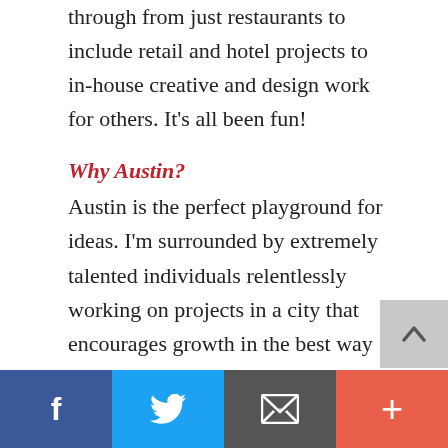through from just restaurants to include retail and hotel projects to in-house creative and design work for others. It's all been fun!
Why Austin?
Austin is the perfect playground for ideas. I'm surrounded by extremely talented individuals relentlessly working on projects in a city that encourages growth in the best way possible.